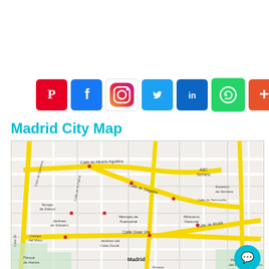[Figure (other): Row of social media icon buttons: Pinterest, Facebook, Instagram, Twitter, LinkedIn, WhatsApp, More (+)]
Madrid City Map
[Figure (map): Google-style street map of Madrid city center showing streets including Calle de Alberto Aguilera, Calle de Sagasta, Calle Gran Via, Calle de Alcala, Mercado de Fuencarral, Biblioteca Nacional, Templo de Debod, Jardines de Sabatini, Campo del Moro, Parque de Atenas, Parque del Retiro, ABC Serrano, Estacion de Serrano, Madrid label, with yellow highlighted main roads on gray street grid background. A teal chat bubble icon is in the lower right corner.]